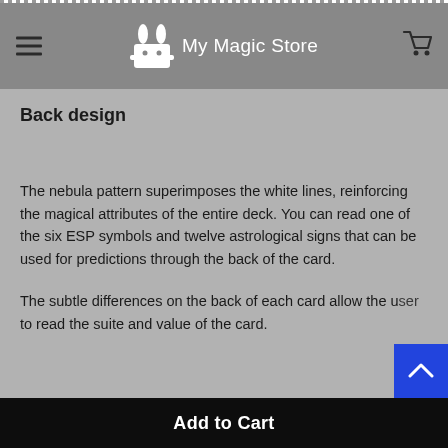My Magic Store
Back design
The nebula pattern superimposes the white lines, reinforcing the magical attributes of the entire deck. You can read one of the six ESP symbols and twelve astrological signs that can be used for predictions through the back of the card.
The subtle differences on the back of each card allow the user to read the suite and value of the card.
Add to Cart